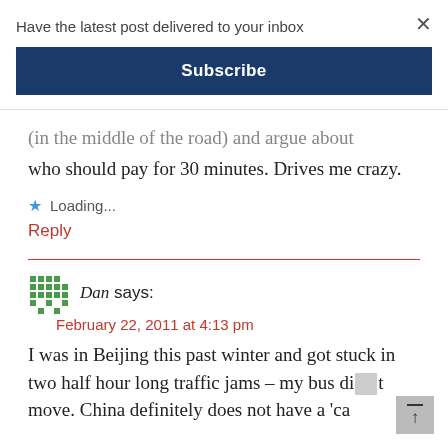Have the latest post delivered to your inbox
Subscribe
(in the middle of the road) and argue about who should pay for 30 minutes. Drives me crazy.
Loading...
Reply
Dan says:
February 22, 2011 at 4:13 pm
I was in Beijing this past winter and got stuck in two half hour long traffic jams – my bus di t move. China definitely does not have a 'ca